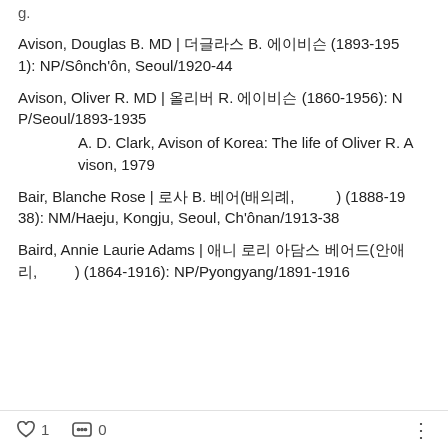g.
Avison, Douglas B. MD | 더글라스 B. 에이비슨 (1893-1951): NP/Sônch'ôn, Seoul/1920-44
Avison, Oliver R. MD | 올리버 R. 에이비슨 (1860-1956): NP/Seoul/1893-1935
A. D. Clark, Avison of Korea: The life of Oliver R. Avison, 1979
Bair, Blanche Rose | 로사 B. 베어(배의례,          ) (1888-1938): NM/Haeju, Kongju, Seoul, Ch'ônan/1913-38
Baird, Annie Laurie Adams | 애니 로리 아담스 베어드(안애리,          ) (1864-1916): NP/Pyongyang/1891-1916
♡ 1   ··· 0   ⋮